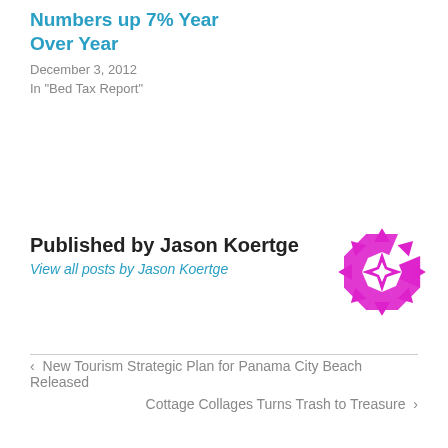Numbers up 7% Year Over Year
December 3, 2012
In "Bed Tax Report"
Published by Jason Koertge
View all posts by Jason Koertge
[Figure (illustration): Circular geometric mandala/avatar graphic in magenta/pink color]
‹ New Tourism Strategic Plan for Panama City Beach Released
Cottage Collages Turns Trash to Treasure ›